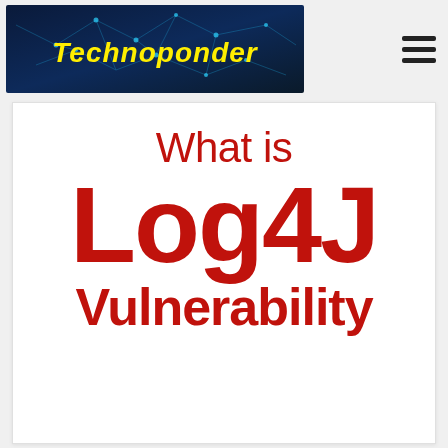[Figure (logo): Technoponder website logo banner — dark blue tech network background with yellow italic text 'Technoponder']
[Figure (infographic): White card with large bold red text reading 'What is Log4J Vulnerability']